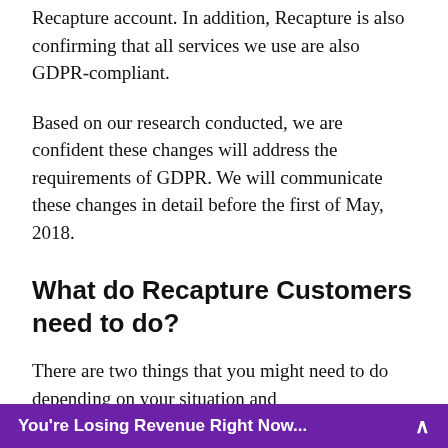Recapture account. In addition, Recapture is also confirming that all services we use are also GDPR-compliant.
Based on our research conducted, we are confident these changes will address the requirements of GDPR. We will communicate these changes in detail before the first of May, 2018.
What do Recapture Customers need to do?
There are two things that you might need to do depending on your situation and
You're Losing Revenue Right Now...